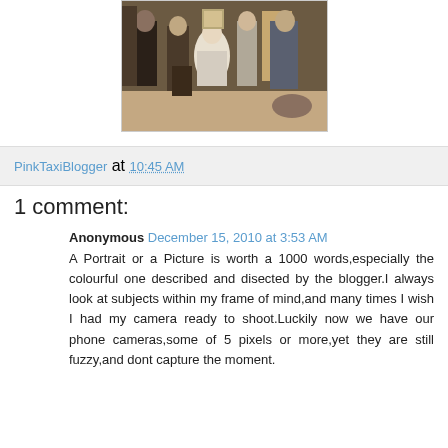[Figure (photo): Painting of Las Meninas by Velázquez showing court figures in a room]
PinkTaxiBlogger at 10:45 AM
1 comment:
Anonymous December 15, 2010 at 3:53 AM
A Portrait or a Picture is worth a 1000 words,especially the colourful one described and disected by the blogger.I always look at subjects within my frame of mind,and many times I wish I had my camera ready to shoot.Luckily now we have our phone cameras,some of 5 pixels or more,yet they are still fuzzy,and dont capture the moment.